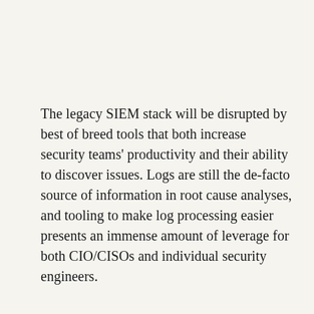The legacy SIEM stack will be disrupted by best of breed tools that both increase security teams' productivity and their ability to discover issues. Logs are still the de-facto source of information in root cause analyses, and tooling to make log processing easier presents an immense amount of leverage for both CIO/CISOs and individual security engineers.
I saw both the value and demand for more effective logging and security orchestration when I